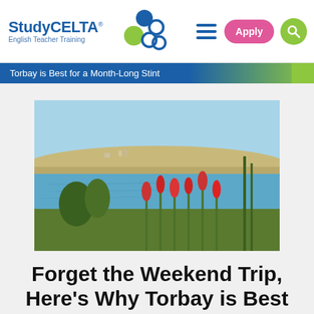StudyCELTA® English Teacher Training — Apply, Search, Menu
Torbay is Best for a Month-Long Stint
[Figure (photo): Coastal landscape photo showing a bay with calm blue water, red flowering plants in the foreground, green trees, and a hillside town in the background under a clear sky.]
Forget the Weekend Trip, Here's Why Torbay is Best for a Month-Long Stint
Dec 2017